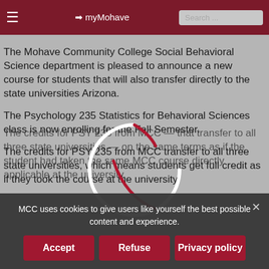≡  ➔ myMohave   Search ...
The Mohave Community College Social Behavioral Science department is pleased to announce a new course for students that will also transfer directly to the state universities Arizona.
The Psychology 235 Statistics for Behavioral Sciences class is now enrolling for the Fall Semester.
The credits for PSY 235 from MCC transfer to all three state universities, which means students get full credit as if they took the course at the university.
MCC uses cookies to give users like yourself the best possible content and experience.
[Figure (other): Loading spinner / circular arrow graphic overlaid on the content area]
Accept   Refuse   Privacy policy